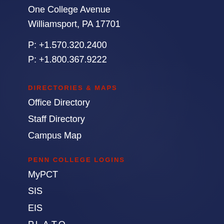One College Avenue
Williamsport, PA 17701
P: +1.570.320.2400
P: +1.800.367.9222
DIRECTORIES & MAPS
Office Directory
Staff Directory
Campus Map
PENN COLLEGE LOGINS
MyPCT
SIS
EIS
P.L.A.T.O.